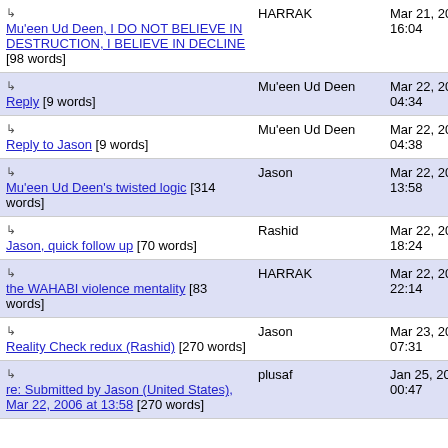| Title | Author | Date |
| --- | --- | --- |
| ↳ Mu'een Ud Deen, I DO NOT BELIEVE IN DESTRUCTION, I BELIEVE IN DECLINE [98 words] | HARRAK | Mar 21, 2006 16:04 |
| ↳ Reply [9 words] | Mu'een Ud Deen | Mar 22, 2006 04:34 |
| ↳ Reply to Jason [9 words] | Mu'een Ud Deen | Mar 22, 2006 04:38 |
| ↳ Mu'een Ud Deen's twisted logic [314 words] | Jason | Mar 22, 2006 13:58 |
| ↳ Jason, quick follow up [70 words] | Rashid | Mar 22, 2006 18:24 |
| ↳ the WAHABI violence mentality [83 words] | HARRAK | Mar 22, 2006 22:14 |
| ↳ Reality Check redux (Rashid) [270 words] | Jason | Mar 23, 2006 07:31 |
| ↳ re: Submitted by Jason (United States), Mar 22, 2006 at 13:58 [270 words] | plusaf | Jan 25, 2008 00:47 |